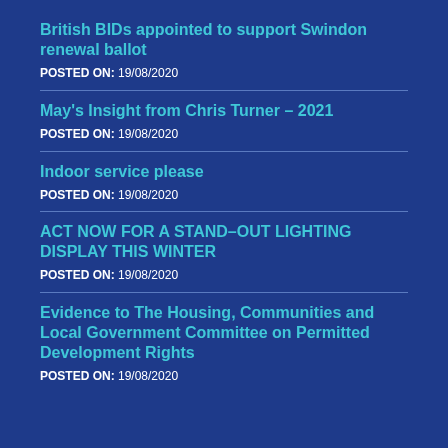British BIDs appointed to support Swindon renewal ballot
POSTED ON: 19/08/2020
May's Insight from Chris Turner – 2021
POSTED ON: 19/08/2020
Indoor service please
POSTED ON: 19/08/2020
ACT NOW FOR A STAND–OUT LIGHTING DISPLAY THIS WINTER
POSTED ON: 19/08/2020
Evidence to The Housing, Communities and Local Government Committee on Permitted Development Rights
POSTED ON: 19/08/2020